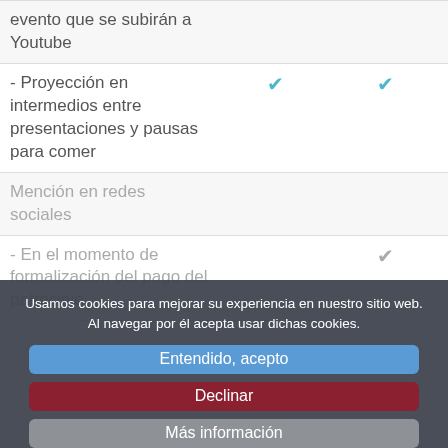|  |  |  |
| --- | --- | --- |
| evento que se subirán a Youtube |  |  |
| - Proyección en intermedios entre presentaciones y pausas para comer | ✔ | ✔ |
| Mención en redes sociales |  |  |
| - En el momento de formalización del pago del patrocinio |  | ✔ |
Usamos cookies para mejorar su experiencia en nuestro sitio web. Al navegar por él acepta usar dichas cookies.
Entendido, acepto
Declinar
Más información